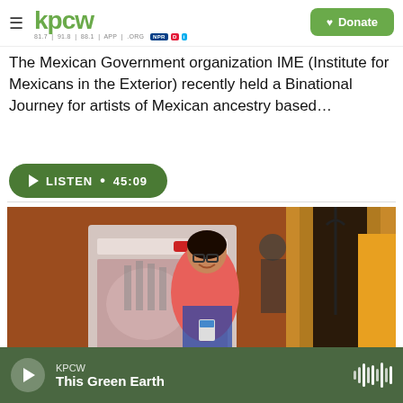KPCW — Donate
The Mexican Government organization IME (Institute for Mexicans in the Exterior) recently held a Binational Journey for artists of Mexican ancestry based…
LISTEN • 45:09
[Figure (photo): A woman in a pink shirt standing in a doorway next to a banner, in front of an orange/brown wall. The setting appears to be an event or conference.]
KPCW — This Green Earth